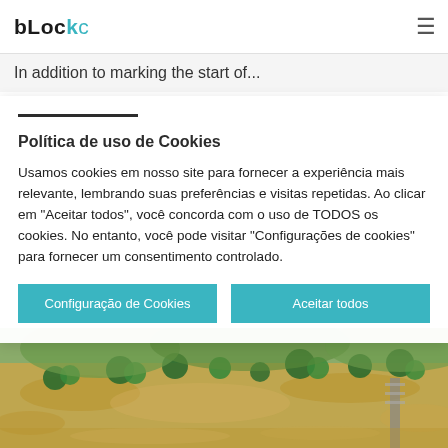blockc — navigation bar with hamburger menu
In addition to marking the start of...
Política de uso de Cookies
Usamos cookies em nosso site para fornecer a experiência mais relevante, lembrando suas preferências e visitas repetidas. Ao clicar em "Aceitar todos", você concorda com o uso de TODOS os cookies. No entanto, você pode visitar "Configurações de cookies" para fornecer um consentimento controlado.
Configuração de Cookies | Aceitar todos
[Figure (photo): Aerial view of flooded landscape with muddy brown water covering agricultural fields and roads, with trees and vegetation visible above flood level.]